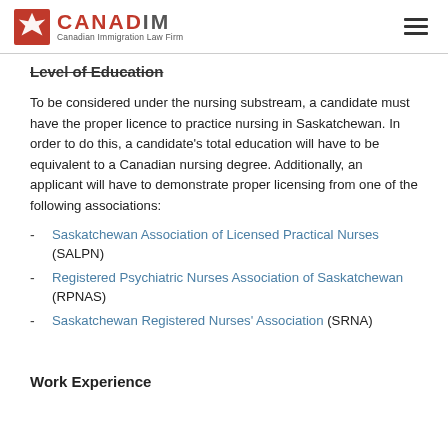CANADIM — Canadian Immigration Law Firm
Level of Education
To be considered under the nursing substream, a candidate must have the proper licence to practice nursing in Saskatchewan. In order to do this, a candidate's total education will have to be equivalent to a Canadian nursing degree. Additionally, an applicant will have to demonstrate proper licensing from one of the following associations:
Saskatchewan Association of Licensed Practical Nurses (SALPN)
Registered Psychiatric Nurses Association of Saskatchewan (RPNAS)
Saskatchewan Registered Nurses' Association (SRNA)
Work Experience